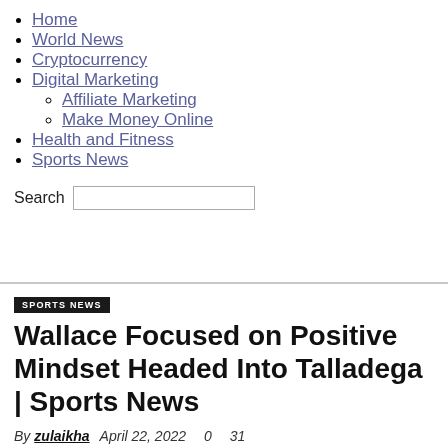Home
World News
Cryptocurrency
Digital Marketing
Affiliate Marketing
Make Money Online
Health and Fitness
Sports News
Search
SPORTS NEWS
Wallace Focused on Positive Mindset Headed Into Talladega | Sports News
By zulaikha   April 22, 2022   0   31